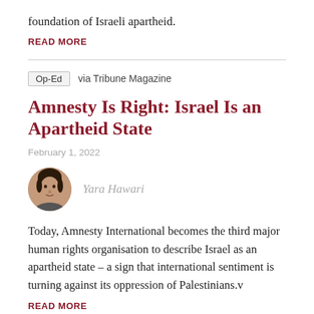foundation of Israeli apartheid.
READ MORE
Op-Ed   via Tribune Magazine
Amnesty Is Right: Israel Is an Apartheid State
February 1, 2022
[Figure (photo): Circular portrait photo of author Yara Hawari]
Yara Hawari
Today, Amnesty International becomes the third major human rights organisation to describe Israel as an apartheid state – a sign that international sentiment is turning against its oppression of Palestinians.v
READ MORE